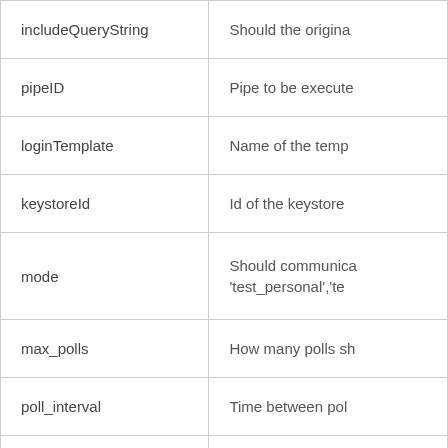| includeQueryString | Should the origina |
| pipeID | Pipe to be execute |
| loginTemplate | Name of the temp |
| keystoreId | Id of the keystore |
| mode | Should communica 'test_personal','te |
| max_polls | How many polls sh |
| poll_interval | Time between pol |